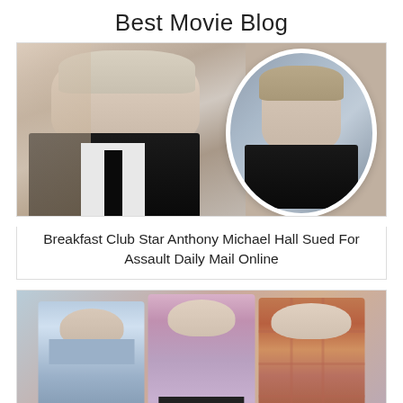Best Movie Blog
[Figure (photo): Photo of Anthony Michael Hall as an adult (left) and as a young actor in a circular inset (right)]
Breakfast Club Star Anthony Michael Hall Sued For Assault Daily Mail Online
[Figure (photo): Three figures standing together - movie cast photo with a CLOSE X button overlay]